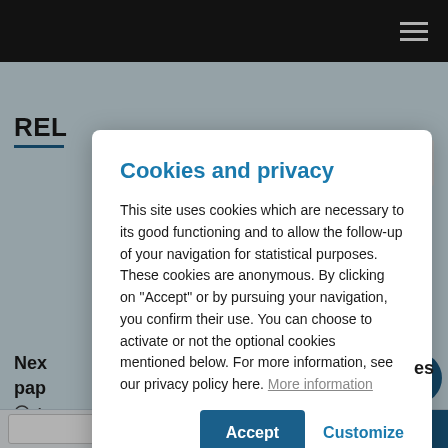Cookies and privacy
This site uses cookies which are necessary to its good functioning and to allow the follow-up of your navigation for statistical purposes. These cookies are anonymous. By clicking on "Accept" or by pursuing your navigation, you confirm their use. You can choose to activate or not the optional cookies mentioned below. For more information, see our privacy policy here. More information